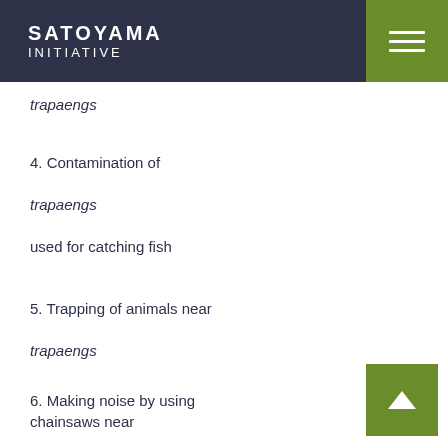SATOYAMA INITIATIVE
trapaengs
4. Contamination of trapaengs used for catching fish
5. Trapping of animals near trapaengs
6. Making noise by using chainsaws near trapaengs